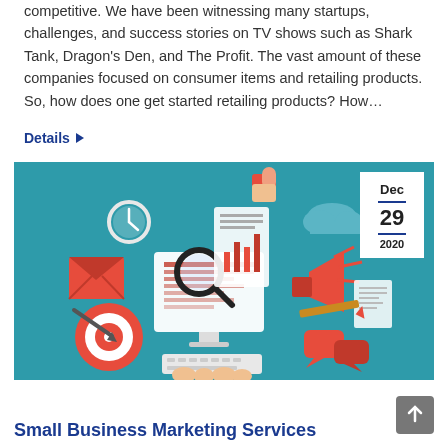competitive. We have been witnessing many startups, challenges, and success stories on TV shows such as Shark Tank, Dragon's Den, and The Profit. The vast amount of these companies focused on consumer items and retailing products. So, how does one get started retailing products? How…
Details ▶
[Figure (illustration): Digital marketing illustration on teal background showing a computer monitor with charts, magnifying glass, megaphone, target with arrow, email envelope, thumbs up, clock, cloud icons, and documents. Date badge in top right corner showing Dec 29 2020.]
Small Business Marketing Services